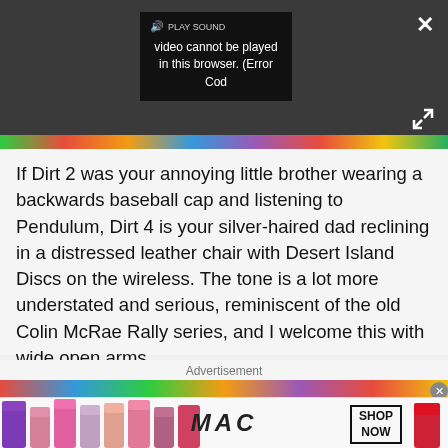[Figure (screenshot): Video player showing error popup: speaker icon, PLAY SOUND label, and text 'video cannot be played in this browser. (Error Cod' on dark background. X close button top right, expand arrows bottom right.]
If Dirt 2 was your annoying little brother wearing a backwards baseball cap and listening to Pendulum, Dirt 4 is your silver-haired dad reclining in a distressed leather chair with Desert Island Discs on the wireless. The tone is a lot more understated and serious, reminiscent of the old Colin McRae Rally series, and I welcome this with wide open arms.
Advertisement
[Figure (photo): MAC cosmetics advertisement banner showing colorful lipsticks on left, MAC logo in center, SHOP NOW box, and red lipstick on right.]